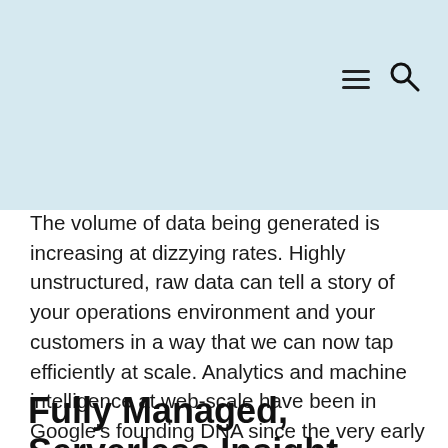[header with hamburger menu and search icon on light blue background]
The volume of data being generated is increasing at dizzying rates. Highly unstructured, raw data can tell a story of your operations environment and your customers in a way that we can now tap efficiently at scale. Analytics and machine intelligence at web-scale have been in Google’s founding DNA since the very early days. Google Cloud Platform surfaces the same analytical engines invented and used by Google for nearly two decades to help unearth insight into your business and operational environment.
Fully Managed, Serverless Insight